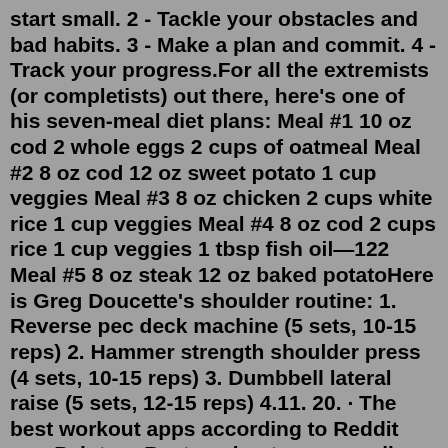start small. 2 - Tackle your obstacles and bad habits. 3 - Make a plan and commit. 4 - Track your progress.For all the extremists (or completists) out there, here's one of his seven-meal diet plans: Meal #1 10 oz cod 2 whole eggs 2 cups of oatmeal Meal #2 8 oz cod 12 oz sweet potato 1 cup veggies Meal #3 8 oz chicken 2 cups white rice 1 cup veggies Meal #4 8 oz cod 2 cups rice 1 cup veggies 1 tbsp fish oil—122 Meal #5 8 oz steak 12 oz baked potatoHere is Greg Doucette's shoulder routine: 1. Reverse pec deck machine (5 sets, 10-15 reps) 2. Hammer strength shoulder press (4 sets, 10-15 reps) 3. Dumbbell lateral raise (5 sets, 12-15 reps) 4.11. 20. · The best workout apps according to Reddit are: Peloton: Best workout app overall. Fitbod: Best workout app for strength training. Freeletics: Best equipment-free workout app. Nike Training Club: Best free workout app.. 1 day ago · Beginner Workouts. We offer a huge range of free workout plans designed specifically for beginners. Jul 31, 2022 · David Goggins' Diet. David